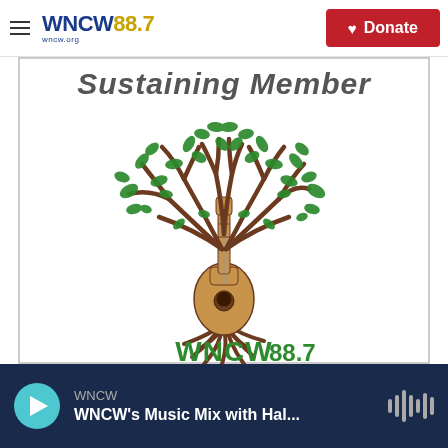WNCW 88.7 | wncw.org | Donate
[Figure (logo): WNCW 88.7 Sustaining Member logo: a tree with guitar trunk and roots, green leaves shaped as musical notes, with 'Sustaining Member' text above and 'WNCW 88.7' text below in green]
WNCW | WNCW's Music Mix with Hal...